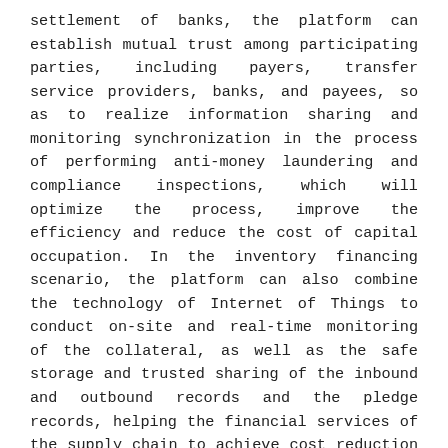settlement of banks, the platform can establish mutual trust among participating parties, including payers, transfer service providers, banks, and payees, so as to realize information sharing and monitoring synchronization in the process of performing anti-money laundering and compliance inspections, which will optimize the process, improve the efficiency and reduce the cost of capital occupation. In the inventory financing scenario, the platform can also combine the technology of Internet of Things to conduct on-site and real-time monitoring of the collateral, as well as the safe storage and trusted sharing of the inbound and outbound records and the pledge records, helping the financial services of the supply chain to achieve cost reduction and efficiency increase, along with controllable risks.
Industry experts also have a high evaluation of the Business Processing System and Blockchain Asset Service Management Platform Based on Big Data, saying it has made outstanding contributions to reshaping the asset